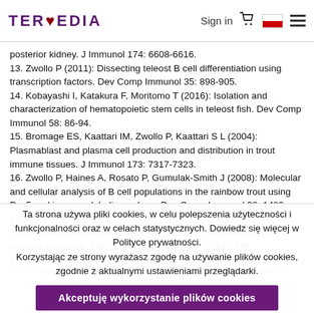TERMEDIA | Sign in
posterior kidney. J Immunol 174: 6608-6616.
13. Zwollo P (2011): Dissecting teleost B cell differentiation using transcription factors. Dev Comp Immunol 35: 898-905.
14. Kobayashi I, Katakura F, Moritomo T (2016): Isolation and characterization of hematopoietic stem cells in teleost fish. Dev Comp Immunol 58: 86-94.
15. Bromage ES, Kaattari IM, Zwollo P, Kaattari S L (2004): Plasmablast and plasma cell production and distribution in trout immune tissues. J Immunol 173: 7317-7323.
16. Zwollo P, Haines A, Rosato P, Gumulak-Smith J (2008): Molecular and cellular analysis of B cell populations in the rainbow trout using Pax5 and immunoglobulin markers. Dev Comp Immunol 32: 1482-1496.
17. Ye J, Kaattari IM, Ma C, Kaattari S (2013): The teleost humoral immune response. Fish Shellfish Immunol 35: 1719-1728.
18. Li J, Barreda DR, Zhang YA, et al. (2006): B lymphocytes from early vertebrates have potent phagocytic and microbicidal abilities. Nat Immunol 7: 1116-1124.
Ta strona używa pliki cookies, w celu polepszenia użyteczności i funkcjonalności oraz w celach statystycznych. Dowiedz się więcej w Polityce prywatności.
Korzystając ze strony wyrażasz zgodę na używanie plików cookies, zgodnie z aktualnymi ustawieniami przeglądarki.
Akceptuję wykorzystanie plików cookies